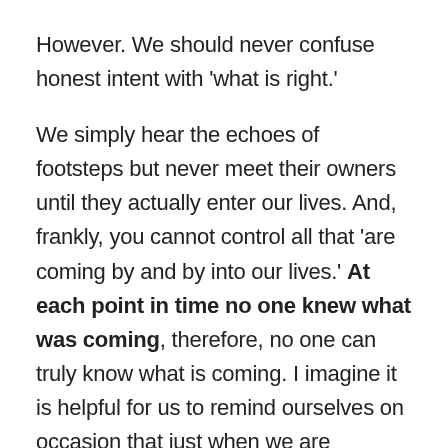However. We should never confuse honest intent with ‘what is right.’
We simply hear the echoes of footsteps but never meet their owners until they actually enter our lives. And, frankly, you cannot control all that ‘are coming by and by into our lives.’ At each point in time no one knew what was coming, therefore, no one can truly know what is coming. I imagine it is helpful for us to remind ourselves on occasion that just when we are absolutely positively 100% sure that